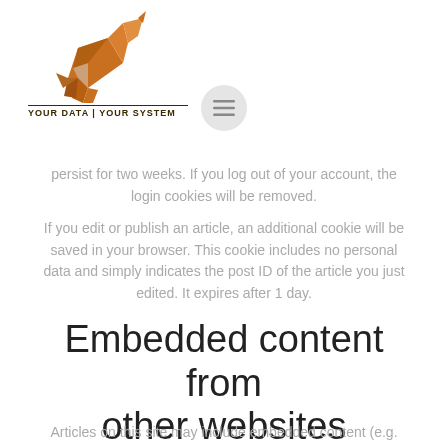[Figure (logo): Origami horse logo in orange/brown geometric style with text 'YOUR DATA | YOUR SYSTEM' below]
[Figure (other): Circular hamburger menu button icon (three horizontal lines inside a circle), grey color]
persist for two weeks. If you log out of your account, the login cookies will be removed.
If you edit or publish an article, an additional cookie will be saved in your browser. This cookie includes no personal data and simply indicates the post ID of the article you just edited. It expires after 1 day.
Embedded content from other websites
Articles on this site may include embedded content (e.g.